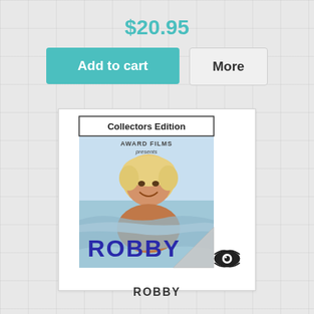$20.95
Add to cart
More
[Figure (photo): Movie DVD cover for ROBBY - Collectors Edition by Award Films. Shows a smiling blonde boy in water. Large blue text 'ROBBY' at bottom.]
ROBBY